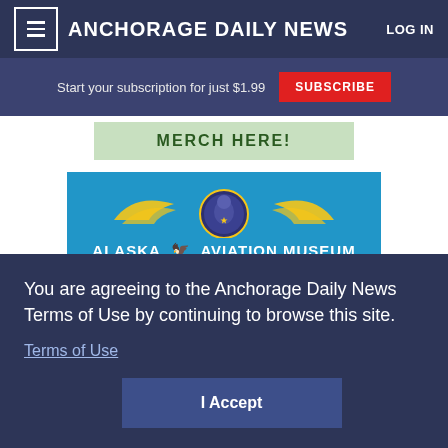Anchorage Daily News | LOG IN
Start your subscription for just $1.99 SUBSCRIBE
[Figure (screenshot): Merch Here banner with green dollar-bill background]
[Figure (screenshot): Alaska Aviation Museum advertisement showing logo with eagle wings, DISCOVER section: The museum has the finest displays of Alaskan aviation, EXPERIENCE section: Sits on Lake Hood - the busiest seaplane base in the world.]
You are agreeing to the Anchorage Daily News Terms of Use by continuing to browse this site.
Terms of Use
I Accept